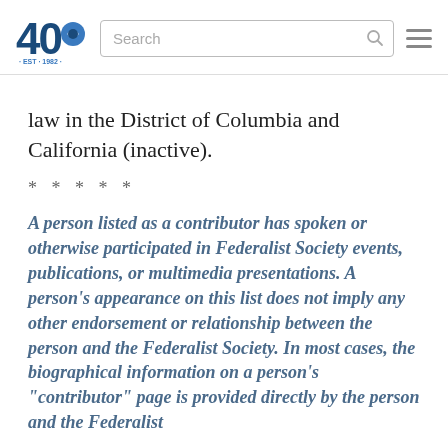40 [logo] Search [search bar] [menu icon]
law in the District of Columbia and California (inactive).
* * * * *
A person listed as a contributor has spoken or otherwise participated in Federalist Society events, publications, or multimedia presentations. A person's appearance on this list does not imply any other endorsement or relationship between the person and the Federalist Society. In most cases, the biographical information on a person's "contributor" page is provided directly by the person and the Federalist